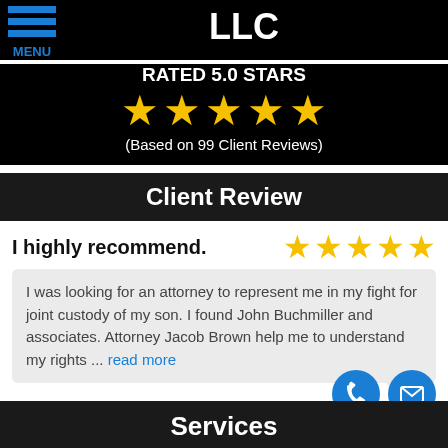LLC
RATED 5.0 STARS
[Figure (other): Five gold stars rating]
(Based on 99 Client Reviews)
Client Review
I highly recommend.
[Figure (other): Five gold stars rating]
I was looking for an attorney to represent me in my fight for joint custody of my son. I found John Buchmiller and associates. Attorney Jacob Brown help me to understand my rights ... read more
- Jabali Sapho
Services